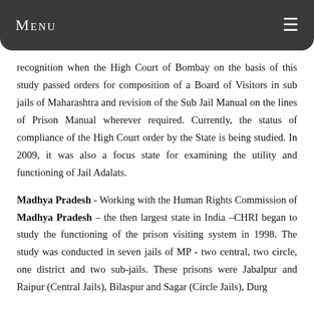Menu
recognition when the High Court of Bombay on the basis of this study passed orders for composition of a Board of Visitors in sub jails of Maharashtra and revision of the Sub Jail Manual on the lines of Prison Manual wherever required. Currently, the status of compliance of the High Court order by the State is being studied. In 2009, it was also a focus state for examining the utility and functioning of Jail Adalats.
Madhya Pradesh - Working with the Human Rights Commission of Madhya Pradesh – the then largest state in India –CHRI began to study the functioning of the prison visiting system in 1998. The study was conducted in seven jails of MP - two central, two circle, one district and two sub-jails. These prisons were Jabalpur and Raipur (Central Jails), Bilaspur and Sagar (Circle Jails), Durg